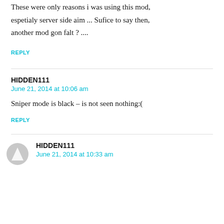These were only reasons i was using this mod, espetialy server side aim ... Sufice to say then, another mod gon falt ? ....
REPLY
HIDDEN111
June 21, 2014 at 10:06 am
Sniper mode is black – is not seen nothing:(
REPLY
HIDDEN111
June 21, 2014 at 10:33 am